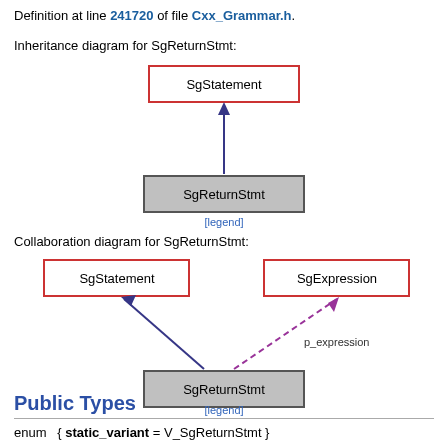Definition at line 241720 of file Cxx_Grammar.h.
Inheritance diagram for SgReturnStmt:
[Figure (organizational-chart): Inheritance diagram showing SgStatement (red border box) at top connected by dark blue arrow pointing up to SgReturnStmt (gray box) below. [legend] link at bottom.]
Collaboration diagram for SgReturnStmt:
[Figure (organizational-chart): Collaboration diagram showing SgStatement (red border) and SgExpression (red border) boxes at top. SgReturnStmt (gray box) at bottom with solid dark blue arrow to SgStatement and dashed purple arrow to SgExpression labeled p_expression. [legend] link at bottom.]
Public Types
enum  { static_variant = V_SgReturnStmt }